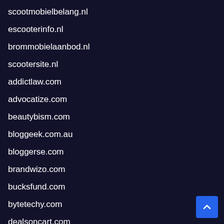scootmobielbelang.nl
escooterinfo.nl
brommobielaanbod.nl
scootersite.nl
addictlaw.com
advocatize.com
beautybism.com
bloggeek.com.au
bloggerse.com
brandwizo.com
bucksfund.com
bytetechy.com
dealsoncart.com
droidific.com
economydiva.com